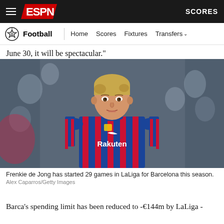ESPN — Football | Home Scores Fixtures Transfers | SCORES
June 30, it will be spectacular."
[Figure (photo): Frenkie de Jong wearing FC Barcelona's blue and red striped Rakuten jersey, looking forward, with a blurred crowd in the background.]
Frenkie de Jong has started 29 games in LaLiga for Barcelona this season.
Alex Caparros/Getty Images
Barca's spending limit has been reduced to -€144m by LaLiga -